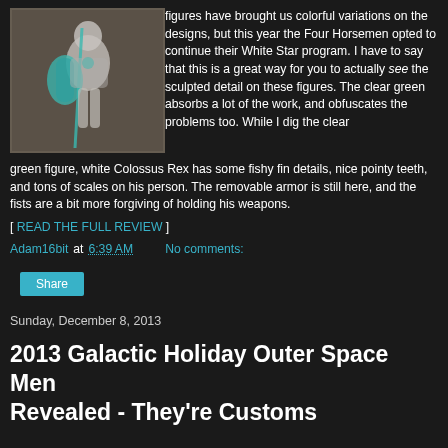[Figure (photo): Action figure photo showing a white/clear green armored warrior figure with shield and spear/weapon]
figures have brought us colorful variations on the designs, but this year the Four Horsemen opted to continue their White Star program. I have to say that this is a great way for you to actually see the sculpted detail on these figures. The clear green absorbs a lot of the work, and obfuscates the problems too. While I dig the clear green figure, white Colossus Rex has some fishy fin details, nice pointy teeth, and tons of scales on his person. The removable armor is still here, and the fists are a bit more forgiving of holding his weapons.
[ READ THE FULL REVIEW ]
Adam16bit at 6:39 AM    No comments:
Share
Sunday, December 8, 2013
2013 Galactic Holiday Outer Space Men Revealed - They're Customs